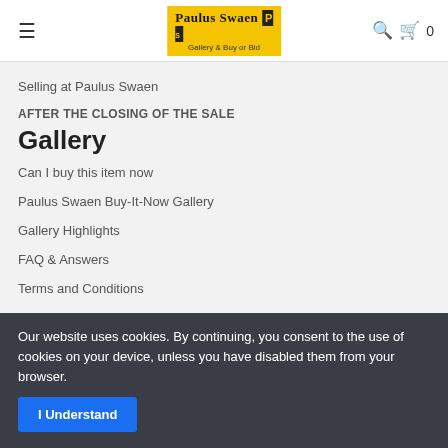Paulus Swaen Gallery & Buy or Bid
Selling at Paulus Swaen
AFTER THE CLOSING OF THE SALE
Gallery
Can I buy this item now
Paulus Swaen Buy-It-Now Gallery
Gallery Highlights
FAQ & Answers
Terms and Conditions
Contact Us
Helpful Links
Our website uses cookies. By continuing, you consent to the use of cookies on your device, unless you have disabled them from your browser.
I Understand